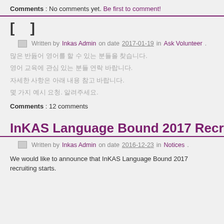Comments : No comments yet. Be first to comment!
[    ]
Written by Inkas Admin on date 2017-01-19 in Ask Volunteer .
Korean text line 1
Korean text line 2
Korean text line 3
Korean text line 4
Comments : 12 comments
InKAS Language Bound 2017 Recruitment
Written by Inkas Admin on date 2016-12-23 in Notices .
We would like to announce that InKAS Language Bound 2017 recruiting starts.